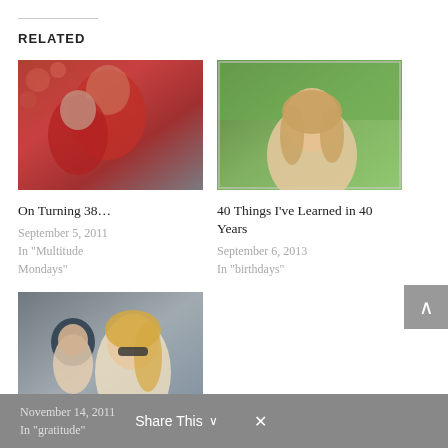RELATED
[Figure (photo): Photo of woman and child in red outdoors]
On Turning 38…
September 5, 2011
In "Multitude Mondays"
[Figure (photo): Portrait photo of smiling blonde woman outdoors]
40 Things I've Learned in 40 Years
September 6, 2013
In "birthdays"
[Figure (photo): Photo of woman with sunglasses holding young child]
A Letter To God From A “Toddler Tired” Mom
November 14, 2011
In "gratitude"
Share This ∨  ×